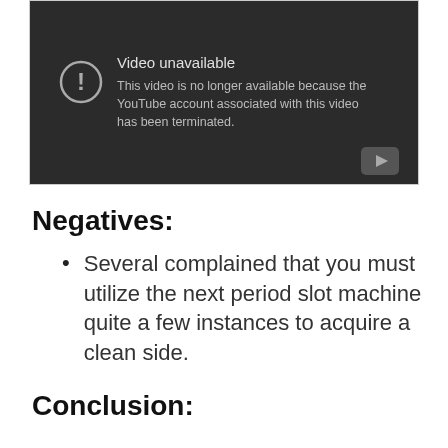[Figure (screenshot): YouTube 'Video unavailable' error screen with dark background. Shows an exclamation mark icon in a circle, title 'Video unavailable', and message 'This video is no longer available because the YouTube account associated with this video has been terminated.' A YouTube play button icon appears in the bottom right corner.]
Negatives:
Several complained that you must utilize the next period slot machine quite a few instances to acquire a clean side.
Conclusion: